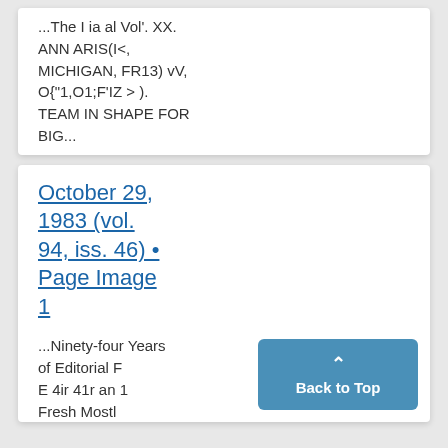...The I ia al Vol'. XX. ANN ARIS(I<, MICHIGAN, FR13) vV, O{"1,O1;F'IZ > ). TEAM IN SHAPE FOR BIG...
October 29, 1983 (vol. 94, iss. 46) • Page Image 1
...Ninety-four Years of Editorial F E 4ir 41r an 1 Fresh Mostly...